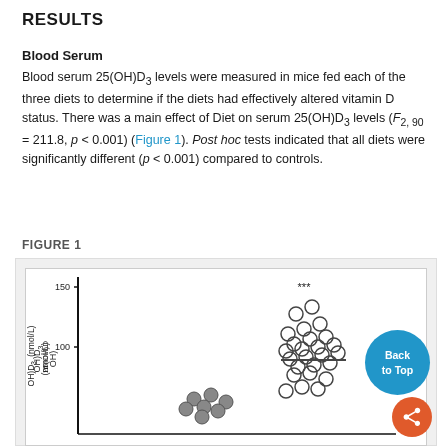RESULTS
Blood Serum
Blood serum 25(OH)D3 levels were measured in mice fed each of the three diets to determine if the diets had effectively altered vitamin D status. There was a main effect of Diet on serum 25(OH)D3 levels (F2, 90 = 211.8, p < 0.001) (Figure 1). Post hoc tests indicated that all diets were significantly different (p < 0.001) compared to controls.
FIGURE 1
[Figure (scatter-plot): Scatter plot showing blood serum 25(OH)D3 levels (nmol/L) on y-axis. Y-axis shows values from 0 to 150. Data points shown for multiple diet groups. High-diet group reaches around 100-130 nmol/L with *** significance marker. Lower groups cluster around 40-60 nmol/L.]